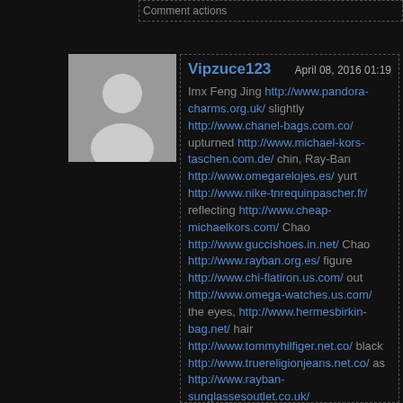Comment actions
[Figure (illustration): Generic user avatar placeholder with gray background and silhouette icon]
Vipzuce123   April 08, 2016 01:19
Imx Feng Jing http://www.pandora-charms.org.uk/ slightly http://www.chanel-bags.com.co/ upturned http://www.michael-kors-taschen.com.de/ chin, Ray-Ban http://www.omegarelojes.es/ yurt http://www.nike-tnrequinpascher.fr/ reflecting http://www.cheap-michaelkors.com/ Chao http://www.guccishoes.in.net/ Chao http://www.rayban.org.es/ figure http://www.chi-flatiron.us.com/ out http://www.omega-watches.us.com/ the eyes, http://www.hermesbirkin-bag.net/ hair http://www.tommyhilfiger.net.co/ black http://www.truereligionjeans.net.co/ as http://www.rayban-sunglassesoutlet.co.uk/